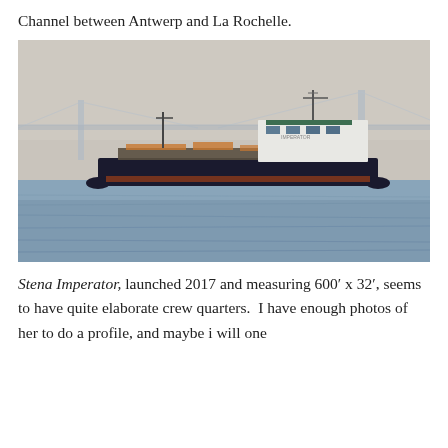Channel between Antwerp and La Rochelle.
[Figure (photo): A tanker ship named Stena Imperator sailing on water with a large suspension bridge visible in the background. The ship is dark-hulled with a white superstructure and has various pipes and equipment on deck.]
Stena Imperator, launched 2017 and measuring 600′ x 32′, seems to have quite elaborate crew quarters.  I have enough photos of her to do a profile, and maybe i will one